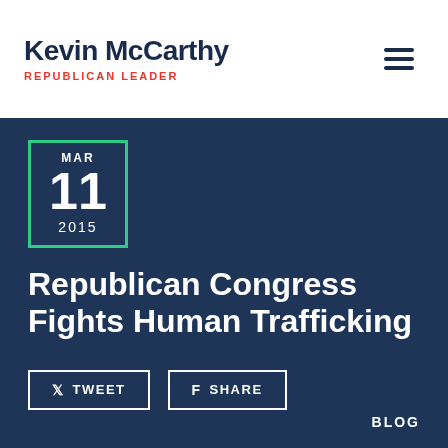Kevin McCarthy Republican Leader
MAR 11 2015
Republican Congress Fights Human Trafficking
TWEET  SHARE
BLOG